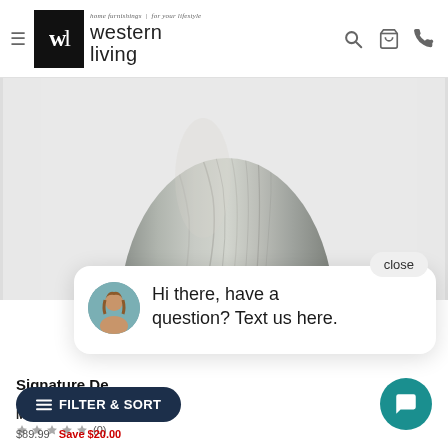western living — home furnishings | for your lifestyle
[Figure (photo): Close-up photo of a gray wood-grain vase against a light gray background]
close
Hi there, have a question? Text us here.
Signature De... Gray Vase
Model #: A2000548
(0)
FILTER & SORT
$89.99   Save $20.00